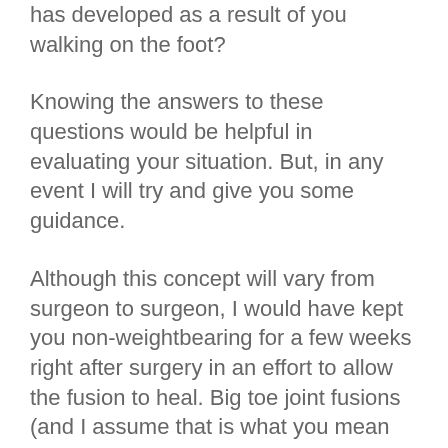has developed as a result of you walking on the foot?
Knowing the answers to these questions would be helpful in evaluating your situation. But, in any event I will try and give you some guidance.
Although this concept will vary from surgeon to surgeon, I would have kept you non-weightbearing for a few weeks right after surgery in an effort to allow the fusion to heal. Big toe joint fusions (and I assume that is what you mean by big toe fusion) have a certain failure rate; I do not want to say a high failure rate, but a rate high enough that the surgery should be treated very carefully post-operatively and the most important part would bekeeping the patient